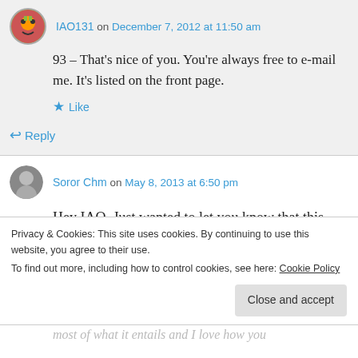IAO131 on December 7, 2012 at 11:50 am
93 – That's nice of you. You're always free to e-mail me. It's listed on the front page.
★ Like
↳ Reply
Soror Chm on May 8, 2013 at 6:50 pm
Hey IAO, Just wanted to let you know that this
Privacy & Cookies: This site uses cookies. By continuing to use this website, you agree to their use. To find out more, including how to control cookies, see here: Cookie Policy
Close and accept
most of what it entails and I love how you